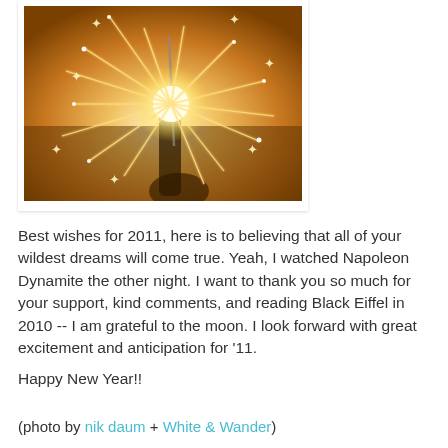[Figure (photo): A close-up photograph of a hand holding a sparkler with bright glowing sparks and star-shaped bokeh lights on a warm golden/amber background.]
Best wishes for 2011, here is to believing that all of your wildest dreams will come true. Yeah, I watched Napoleon Dynamite the other night. I want to thank you so much for your support, kind comments, and reading Black Eiffel in 2010 -- I am grateful to the moon. I look forward with great excitement and anticipation for '11.
Happy New Year!!
(photo by nik daum + White & Wander)